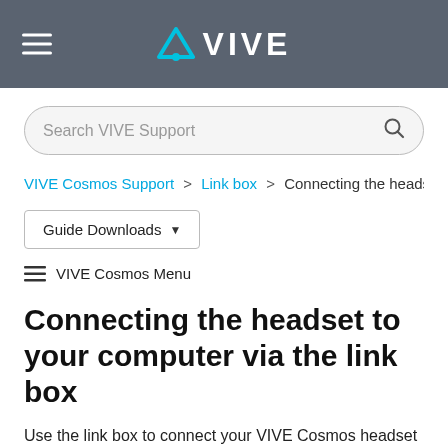VIVE
Search VIVE Support
VIVE Cosmos Support > Link box > Connecting the heads…
Guide Downloads
≡  VIVE Cosmos Menu
Connecting the headset to your computer via the link box
Use the link box to connect your VIVE Cosmos headset to your computer.